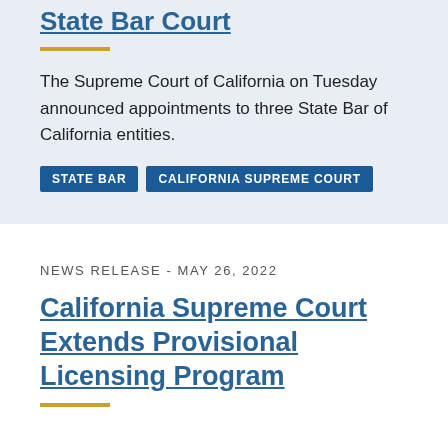State Bar Court
The Supreme Court of California on Tuesday announced appointments to three State Bar of California entities.
STATE BAR
CALIFORNIA SUPREME COURT
NEWS RELEASE - MAY 26, 2022
California Supreme Court Extends Provisional Licensing Program